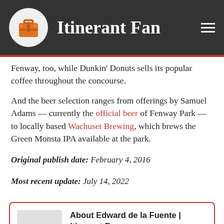Itinerant Fan
Fenway, too, while Dunkin' Donuts sells its popular coffee throughout the concourse.
And the beer selection ranges from offerings by Samuel Adams — currently the official beer of Fenway Park — to locally based Wachuset Brewing, which brews the Green Monsta IPA available at the park.
Original publish date: February 4, 2016
Most recent update: July 14, 2022
About Edward de la Fuente | Itinerant Fan
I live for sports, and I love to travel. My biggest thrill is combining the two. I've been blogging about sports travel for